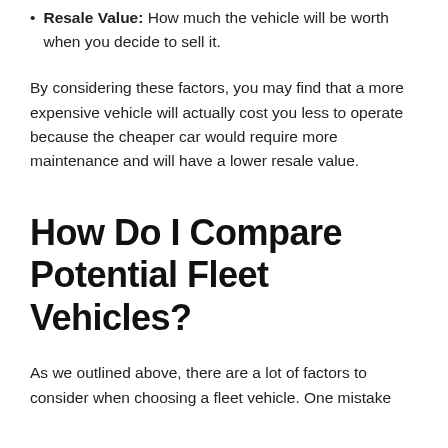Resale Value: How much the vehicle will be worth when you decide to sell it.
By considering these factors, you may find that a more expensive vehicle will actually cost you less to operate because the cheaper car would require more maintenance and will have a lower resale value.
How Do I Compare Potential Fleet Vehicles?
As we outlined above, there are a lot of factors to consider when choosing a fleet vehicle. One mistake